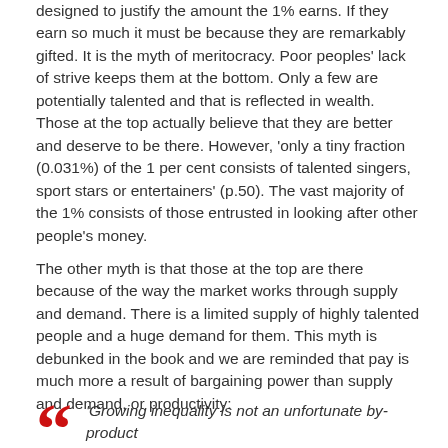designed to justify the amount the 1% earns. If they earn so much it must be because they are remarkably gifted. It is the myth of meritocracy. Poor peoples' lack of strive keeps them at the bottom. Only a few are potentially talented and that is reflected in wealth. Those at the top actually believe that they are better and deserve to be there. However, 'only a tiny fraction (0.031%) of the 1 per cent consists of talented singers, sport stars or entertainers' (p.50). The vast majority of the 1% consists of those entrusted in looking after other people's money.
The other myth is that those at the top are there because of the way the market works through supply and demand. There is a limited supply of highly talented people and a huge demand for them. This myth is debunked in the book and we are reminded that pay is much more a result of bargaining power than supply and demand, or productivity:
'Growing inequality is not an unfortunate by-product